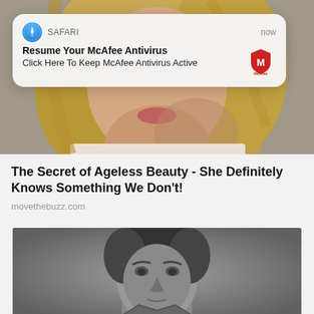[Figure (photo): Close-up photo of a woman with blonde hair, cropped at chin level, background visible]
[Figure (screenshot): iOS Safari push notification overlay: 'Resume Your McAfee Antivirus / Click Here To Keep McAfee Antivirus Active' with McAfee logo, timestamp 'now']
The Secret of Ageless Beauty - She Definitely Knows Something We Don't!
movethebuzz.com
[Figure (photo): Black and white close-up portrait photo of a man with dark hair]